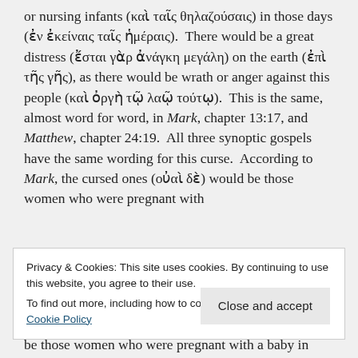or nursing infants (καὶ ταῖς θηλαζούσαις) in those days (ἐν ἐκείναις ταῖς ἡμέραις). There would be a great distress (ἔσται γὰρ ἀνάγκη μεγάλη) on the earth (ἐπὶ τῆς γῆς), as there would be wrath or anger against this people (καὶ ὀργὴ τῷ λαῷ τούτῳ). This is the same, almost word for word, in Mark, chapter 13:17, and Matthew, chapter 24:19. All three synoptic gospels have the same wording for this curse. According to Mark, the cursed ones (οὐαὶ δὲ) would be those women who were pregnant with
Privacy & Cookies: This site uses cookies. By continuing to use this website, you agree to their use.
To find out more, including how to control cookies, see here: Cookie Policy
be those women who were pregnant with a baby in